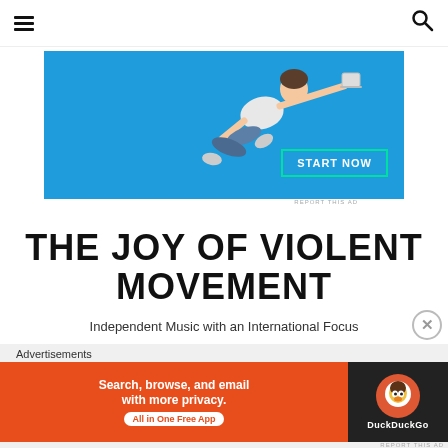≡  🔍
[Figure (photo): Advertisement banner with blue background showing a person in a white t-shirt and jeans flying/leaping horizontally, reaching toward the right. A 'START NOW' button with teal border is in the lower right of the banner.]
REPORT THIS AD
THE JOY OF VIOLENT MOVEMENT
Independent Music with an International Focus
Advertisements
[Figure (screenshot): DuckDuckGo advertisement banner. Left orange section reads 'Search, browse, and email with more privacy. All in One Free App'. Right dark section shows DuckDuckGo duck logo and 'DuckDuckGo' text.]
REPORT THIS AD